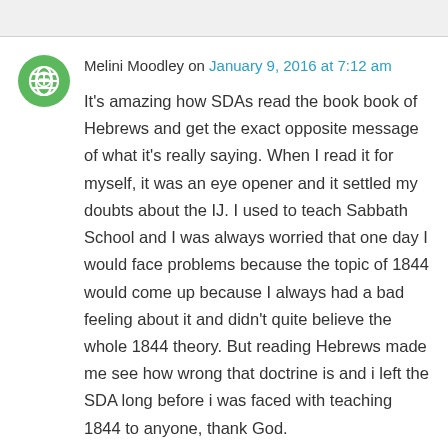Melini Moodley on January 9, 2016 at 7:12 am
It's amazing how SDAs read the book book of Hebrews and get the exact opposite message of what it's really saying. When I read it for myself, it was an eye opener and it settled my doubts about the IJ. I used to teach Sabbath School and I was always worried that one day I would face problems because the topic of 1844 would come up because I always had a bad feeling about it and didn't quite believe the whole 1844 theory. But reading Hebrews made me see how wrong that doctrine is and i left the SDA long before i was faced with teaching 1844 to anyone, thank God.